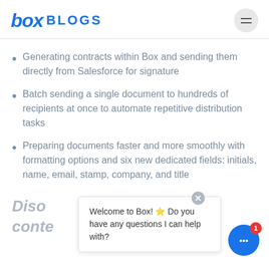box BLOGS
Generating contracts within Box and sending them directly from Salesforce for signature
Batch sending a single document to hundreds of recipients at once to automate repetitive distribution tasks
Preparing documents faster and more smoothly with formatting options and six new dedicated fields: initials, name, email, stamp, company, and title
Disco… conte…
Welcome to Box! 🎉 Do you have any questions I can help with?